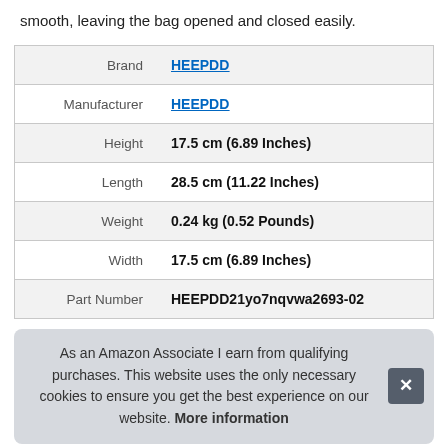smooth, leaving the bag opened and closed easily.
|  |  |
| --- | --- |
| Brand | HEEPDD |
| Manufacturer | HEEPDD |
| Height | 17.5 cm (6.89 Inches) |
| Length | 28.5 cm (11.22 Inches) |
| Weight | 0.24 kg (0.52 Pounds) |
| Width | 17.5 cm (6.89 Inches) |
| Part Number | HEEPDD21yo7nqvwa2693-02 |
As an Amazon Associate I earn from qualifying purchases. This website uses the only necessary cookies to ensure you get the best experience on our website. More information
7. Iohiios